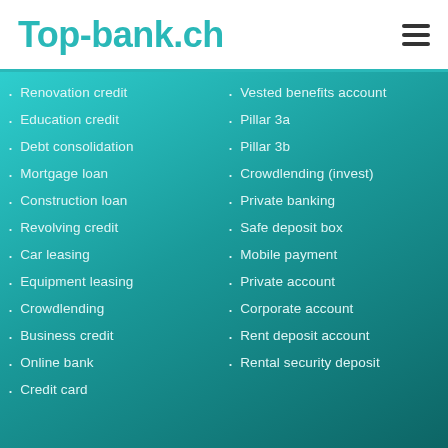Top-bank.ch
Renovation credit
Education credit
Debt consolidation
Mortgage loan
Construction loan
Revolving credit
Car leasing
Equipment leasing
Crowdlending
Business credit
Online bank
Credit card
Vested benefits account
Pillar 3a
Pillar 3b
Crowdlending (invest)
Private banking
Safe deposit box
Mobile payment
Private account
Corporate account
Rent deposit account
Rental security deposit